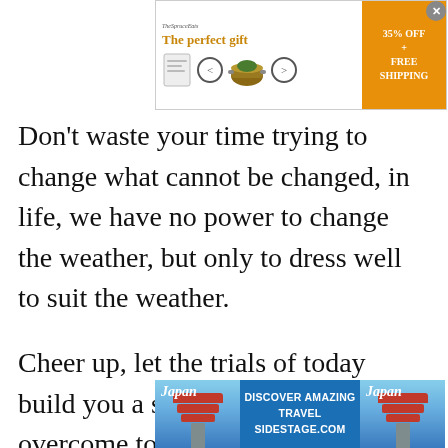[Figure (screenshot): Top advertisement banner showing 'The perfect gift' with cookware images, navigation arrows, and an orange '35% OFF + FREE SHIPPING' badge. A close button (X) is in the upper right corner.]
Don't waste your time trying to change what cannot be changed, in life, we have no power to change the weather, but only to dress well to suit the weather.
Cheer up, let the trials of today build you a stepping stone to overcome tomorrow's obstacles.
Don't be anxious about tomorrow, let
[Figure (screenshot): Bottom advertisement banner for Japan travel with pagoda images on left and right, center text reading 'DISCOVER AMAZING TRAVEL SIDESTAGE.COM']